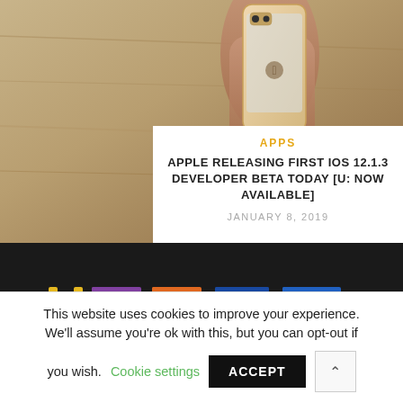[Figure (photo): A hand holding a gold iPhone from behind, showing the Apple logo, against a wooden background. A white card overlay appears on the right side of the photo with article information.]
APPS
APPLE RELEASING FIRST IOS 12.1.3 DEVELOPER BETA TODAY [U: NOW AVAILABLE]
JANUARY 8, 2019
[Figure (logo): WCCAF logo in large colorful letters (yellow, purple, orange, blue) on a dark background]
This website uses cookies to improve your experience. We'll assume you're ok with this, but you can opt-out if you wish.
Cookie settings
ACCEPT